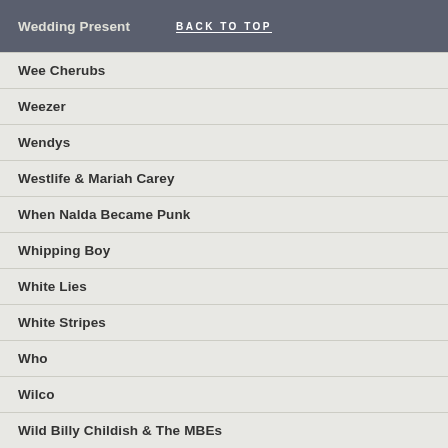Wedding Present  BACK TO TOP
Wee Cherubs
Weezer
Wendys
Westlife & Mariah Carey
When Nalda Became Punk
Whipping Boy
White Lies
White Stripes
Who
Wilco
Wild Billy Childish & The MBEs
Wild Indians